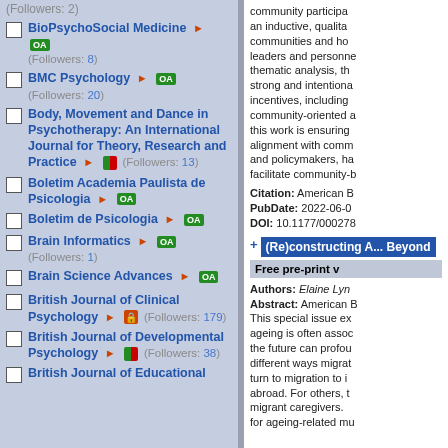(Followers: 2)
BioPsychoSocial Medicine OA (Followers: 8)
BMC Psychology OA (Followers: 20)
Body, Movement and Dance in Psychotherapy: An International Journal for Theory, Research and Practice (Followers: 13)
Boletim Academia Paulista de Psicologia OA
Boletim de Psicologia OA
Brain Informatics OA (Followers: 1)
Brain Science Advances OA
British Journal of Clinical Psychology (Followers: 179)
British Journal of Developmental Psychology (Followers: 38)
British Journal of Educational ...
community participa... an inductive, qualita... communities and how leaders and personne... thematic analysis, th... strong and intentiona... incentives, including community-oriented a... this work is ensuring alignment with comm... and policymakers, ha... facilitate community-b...
Citation: American B... PubDate: 2022-06-0... DOI: 10.1177/000278...
(Re)constructing A... Beyond
Free pre-print v...
Authors: Elaine Lyn... Abstract: American B... This special issue ex... ageing is often assoc... the future can profou... different ways migrat... turn to migration to i... abroad. For others, t... migrant caregivers. ... for ageing-related mu...